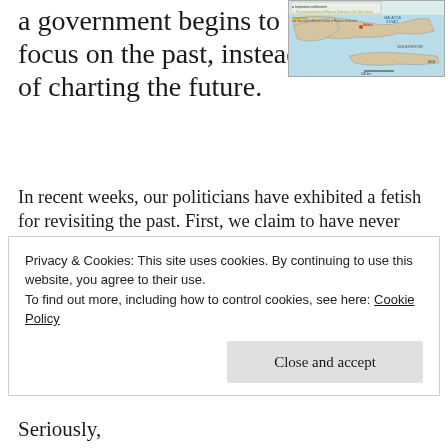a government begins to focus on the past, instead of charting the future.
[Figure (map): Map showing the Malacca Sultanate in the late 15th century, with legend indicating important settlement, maximum extent, and area under effective control. Shows Malacca Strait, Sunda Kingdom, Java.]
In recent weeks, our politicians have exhibited a fetish for revisiting the past. First, we claim to have never been colonised by the British, which begs the question of why and whom did we gain independence from then. Now, we have a state Chief Minister claiming that the Melaka Sultanate predates the Melaka Sultanate.
Privacy & Cookies: This site uses cookies. By continuing to use this website, you agree to their use.
To find out more, including how to control cookies, see here: Cookie Policy
Close and accept
Seriously,